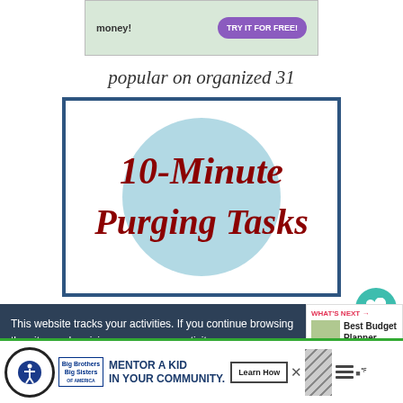[Figure (other): Advertisement banner with light green background showing 'money!' text and a purple 'TRY IT FOR FREE!' button]
popular on organized 31
[Figure (illustration): Article thumbnail for '10-Minute Purging Tasks' with a light blue circle on white background, framed with a dark blue border]
[Figure (other): Social sidebar with teal heart button showing 181 and a share button]
This website tracks your activities. If you continue browsing the site, you're giving us cons... your activity.
[Figure (other): What's Next widget showing Best Budget Planner]
[Figure (other): Bottom advertisement for Big Brothers Big Sisters: MENTOR A KID IN YOUR COMMUNITY with Learn How button]